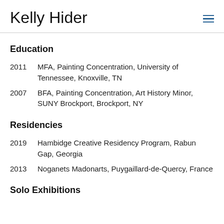Kelly Hider
Education
2011    MFA, Painting Concentration, University of Tennessee, Knoxville, TN
2007    BFA, Painting Concentration, Art History Minor, SUNY Brockport, Brockport, NY
Residencies
2019    Hambidge Creative Residency Program, Rabun Gap, Georgia
2013    Noganets Madonarts, Puygaillard-de-Quercy, France
Solo Exhibitions